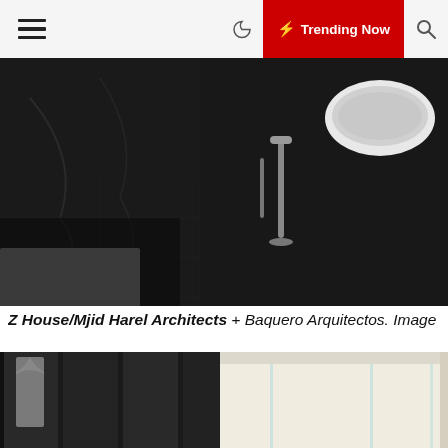☰  🌙  ⚡ Trending Now  🔍
[Figure (photo): Interior bathroom photo with dark tile floor, freestanding white bathtub on right, black marble wall panels on left, standalone chrome floor faucet — dimly lit architectural photography]
Z House/Mjid Harel Architects + Baquero Arquitectos. Image © Fe
[Figure (photo): Interior architectural photo showing glass partition walls with dark frames on left side (clothes/robe hanging) and bright white corridor with glass panels on right — modern minimalist architecture]